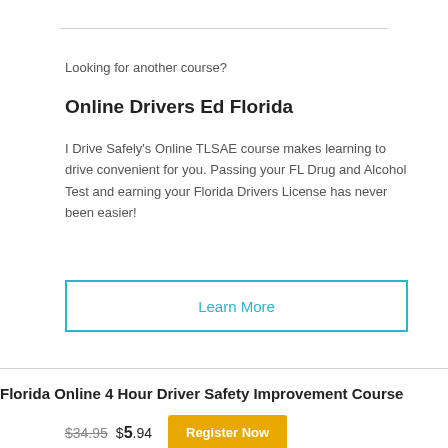Looking for another course?
Online Drivers Ed Florida
I Drive Safely's Online TLSAE course makes learning to drive convenient for you. Passing your FL Drug and Alcohol Test and earning your Florida Drivers License has never been easier!
Learn More
Florida Online 4 Hour Driver Safety Improvement Course
$34.95  $5.94  Register Now